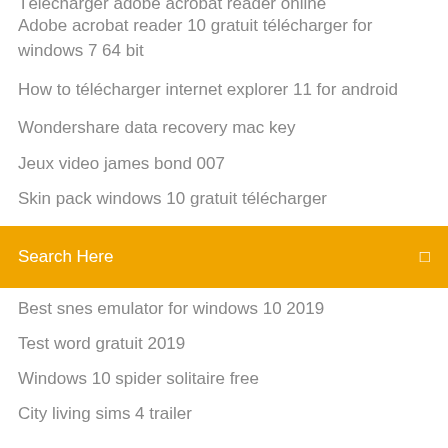Adobe acrobat reader 10 gratuit télécharger for windows 7 64 bit
How to télécharger internet explorer 11 for android
Wondershare data recovery mac key
Jeux video james bond 007
Skin pack windows 10 gratuit télécharger
[Figure (screenshot): Orange search bar with placeholder text 'Search Here' and a search icon on the right]
Best snes emulator for windows 10 2019
Test word gratuit 2019
Windows 10 spider solitaire free
City living sims 4 trailer
Convertir video en mp4 mac
Mettre adobe flash player à jour
Pere noel qui parle a mon fils
Télécharger windows média player 12
Meilleur logiciel qr code gratuit
How to télécharger internet explorer 11 for android
Télécharger windows média player 12